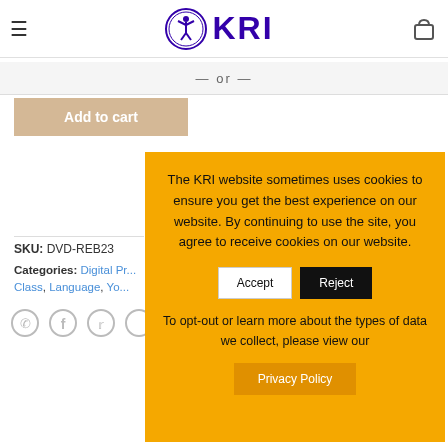KRI logo header with hamburger menu and cart icon
— or —
Add to cart
SKU: DVD-REB23
Categories: Digital Pr..., Class, Language, Yo...
[Figure (screenshot): Social share icons: WhatsApp, Facebook, Twitter and another icon]
The KRI website sometimes uses cookies to ensure you get the best experience on our website. By continuing to use the site, you agree to receive cookies on our website.
Accept
Reject
To opt-out or learn more about the types of data we collect, please view our
Privacy Policy